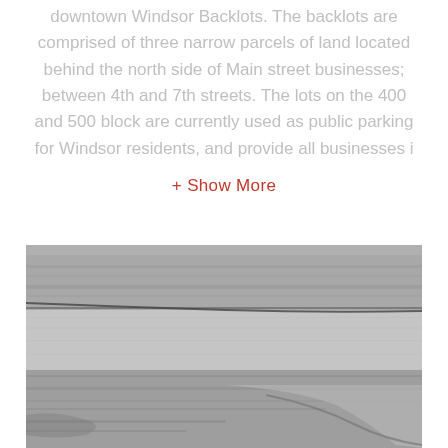downtown Windsor Backlots. The backlots are comprised of three narrow parcels of land located behind the north side of Main street businesses; between 4th and 7th streets. The lots on the 400 and 500 block are currently used as public parking for Windsor residents, and provide all businesses i
+ Show More
[Figure (photo): Black and white aerial photograph showing a river or waterway running through a flat landscape, viewed from above at an angle. The water body curves in the lower right portion of the image.]